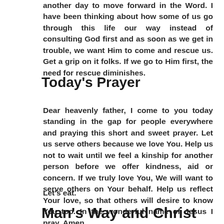another day to move forward in the Word. I have been thinking about how some of us go through this life our way instead of consulting God first and as soon as we get in trouble, we want Him to come and rescue us. Get a grip on it folks. If we go to Him first, the need for rescue diminishes.
Today's Prayer
Dear heavenly father, I come to you today standing in the gap for people everywhere and praying this short and sweet prayer. Let us serve others because we love You. Help us not to wait until we feel a kinship for another person before we offer kindness, aid or concern. If we truly love You, We will want to serve others on Your behalf. Help us reflect Your love, so that others will desire to know You too. In the wonderful name of Jesus I pray, Amen.
Let's eat.
Man's Way and Christ